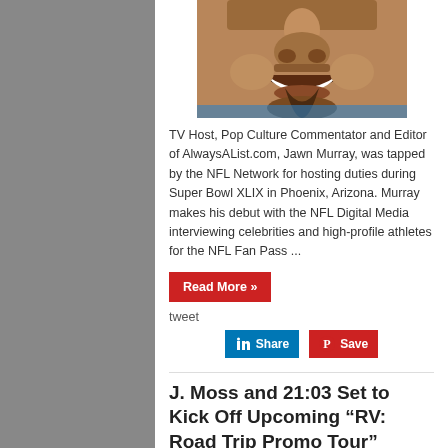[Figure (photo): Close-up photo of a smiling man with a goatee, cropped to show nose and mouth area]
TV Host, Pop Culture Commentator and Editor of AlwaysAList.com, Jawn Murray, was tapped by the NFL Network for hosting duties during Super Bowl XLIX in Phoenix, Arizona. Murray makes his debut with the NFL Digital Media interviewing celebrities and high-profile athletes for the NFL Fan Pass ...
Read More »
tweet
[Figure (other): LinkedIn Share button and Pinterest Save button]
J. Moss and 21:03 Set to Kick Off Upcoming “RV: Road Trip Promo Tour”